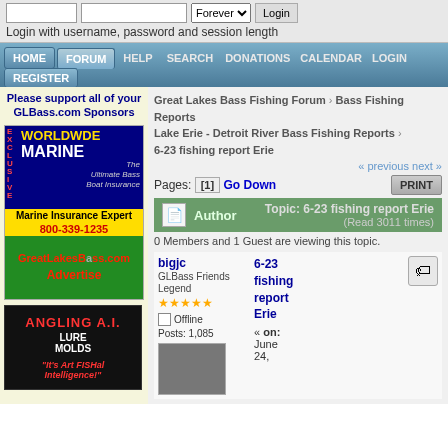Login with username, password and session length
HOME | FORUM | HELP | SEARCH | DONATIONS | CALENDAR | LOGIN | REGISTER
[Figure (illustration): Worldwide Marine boat insurance ad banner with yellow EXCLUSIVE vertical text, boat image, and phone number 800-339-1235]
[Figure (illustration): GreatLakesBass.com Advertise banner]
[Figure (illustration): Angling A.I. Lure Molds advertisement - It's Art FISHal Intelligence!]
Please support all of your GLBass.com Sponsors
Great Lakes Bass Fishing Forum > Bass Fishing Reports > Lake Erie - Detroit River Bass Fishing Reports > 6-23 fishing report Erie
« previous next »
Pages: [1] Go Down
Author   Topic: 6-23 fishing report Erie (Read 3011 times)
0 Members and 1 Guest are viewing this topic.
bigjc
GLBass Friends
Legend
Offline
Posts: 1,085
6-23 fishing report Erie
« on: June 24,